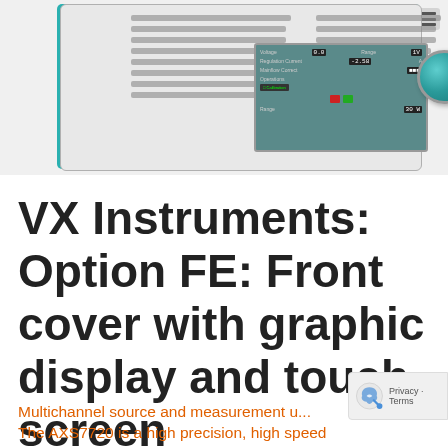[Figure (photo): Front panel of VX Instruments AXS7720 device with teal side accents, ventilation slats, a graphic touch screen display showing source/measurement controls, buttons, and a large teal rotary knob. A hamburger menu icon appears in the top right corner.]
VX Instruments: Option FE: Front cover with graphic display and touch screen
Multichannel source and measurement u... The AXS7720 is a high precision, high speed...